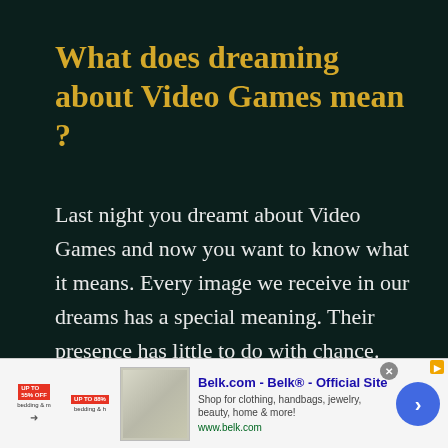What does dreaming about Video Games mean ?
Last night you dreamt about Video Games and now you want to know what it means. Every image we receive in our dreams has a special meaning. Their presence has little to do with chance. However, their meaning differs for …
[Figure (screenshot): Advertisement banner for Belk.com showing product image (bedding), ad text 'Belk.com - Belk® - Official Site', description 'Shop for clothing, handbags, jewelry, beauty, home & more!', URL 'www.belk.com', with a blue arrow button and close button]